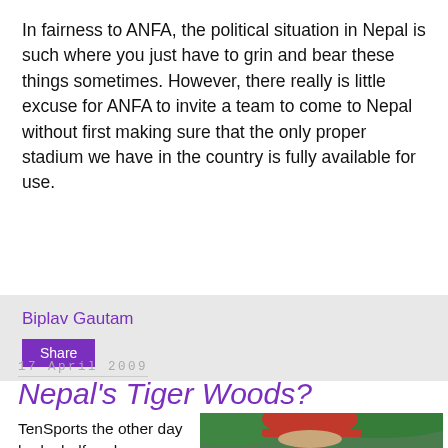In fairness to ANFA, the political situation in Nepal is such where you just have to grin and bear these things sometimes. However, there really is little excuse for ANFA to invite a team to come to Nepal without first making sure that the only proper stadium we have in the country is fully available for use.
Biplav Gautam
Share
17 April 2009
Nepal's Tiger Woods?
TenSports the other day had a half-an-hour feature on Nepali golf. The narrator
[Figure (photo): A man wearing a red cap and dark clothing, appearing to swing a golf club, photographed outdoors with green foliage in the background.]